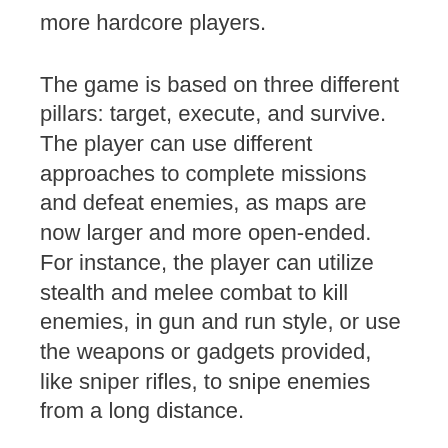more hardcore players.
The game is based on three different pillars: target, execute, and survive. The player can use different approaches to complete missions and defeat enemies, as maps are now larger and more open-ended. For instance, the player can utilize stealth and melee combat to kill enemies, in gun and run style, or use the weapons or gadgets provided, like sniper rifles, to snipe enemies from a long distance.
The game's objectives are not shown on the mini-map provided to the player. The player is required to find them by completing intel-gathering missions. The player can also use a drone, which is one of the newest additions to the series and